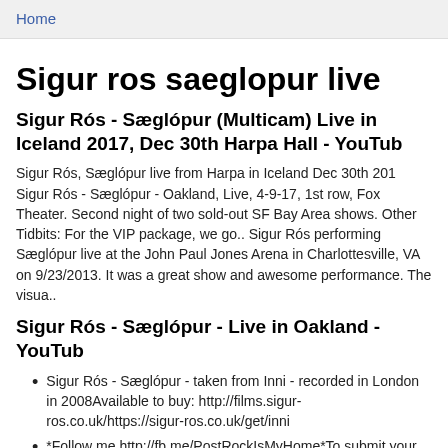Home
Sigur ros saeglopur live
Sigur Rós - Sæglópur (Multicam) Live in Iceland 2017, Dec 30th Harpa Hall - YouTub
Sigur Rós, Sæglópur live from Harpa in Iceland Dec 30th 201 Sigur Rós - Sæglópur - Oakland, Live, 4-9-17, 1st row, Fox Theater. Second night of two sold-out SF Bay Area shows. Other Tidbits: For the VIP package, we go.. Sigur Rós performing Sæglópur live at the John Paul Jones Arena in Charlottesville, VA on 9/23/2013. It was a great show and awesome performance. The visua..
Sigur Rós - Sæglópur - Live in Oakland - YouTub
Sigur Rós - Sæglópur - taken from Inni - recorded in London in 2008Available to buy: http://films.sigur-ros.co.uk/https://sigur-ros.co.uk/get/inni
*Follow me http://fb.me/PostRockIsMyHome*To submit your music / For removal of copyrighted